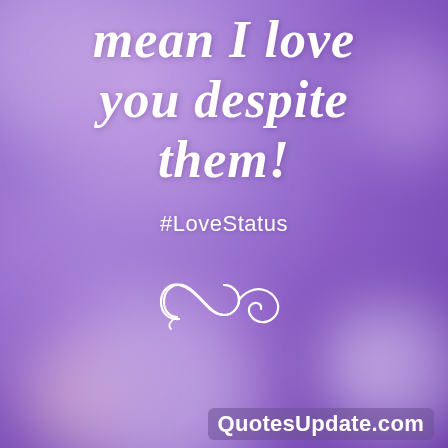mean I love you despite them!
#LoveStatus
[Figure (illustration): Decorative white infinity-swirl ornament symbol on purple blurred bokeh background]
QuotesUpdate.com